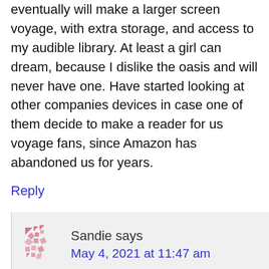device). I certainly hope that Amazon will eventually will make a larger screen voyage, with extra storage, and access to my audible library. At least a girl can dream, because I dislike the oasis and will never have one. Have started looking at other companies devices in case one of them decide to make a reader for us voyage fans, since Amazon has abandoned us for years.
Reply
Sandie says
May 4, 2021 at 11:47 am
OMG Teresa, so happy not to be the only one with two perfectly refurbed Kindle